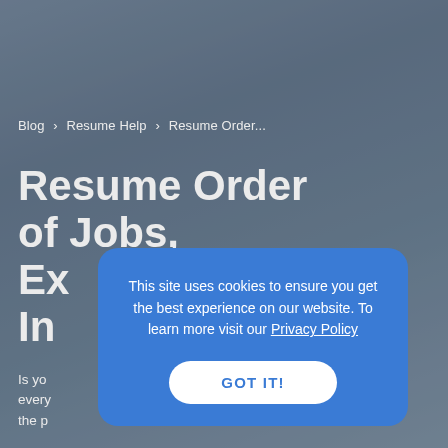[Figure (screenshot): Hero background image showing a blurred desk scene with laptop, overlaid with dark blue-grey tint]
Blog > Resume Help > Resume Order...
Resume Order of Jobs, Ex... & Items of Int...
Is yo... every... the p...
This site uses cookies to ensure you get the best experience on our website. To learn more visit our Privacy Policy
GOT IT!